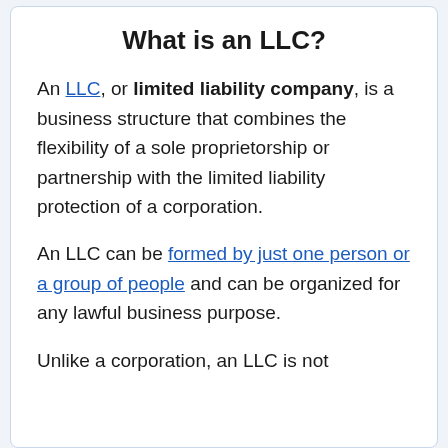What is an LLC?
An LLC, or limited liability company, is a business structure that combines the flexibility of a sole proprietorship or partnership with the limited liability protection of a corporation.
An LLC can be formed by just one person or a group of people and can be organized for any lawful business purpose.
Unlike a corporation, an LLC is not